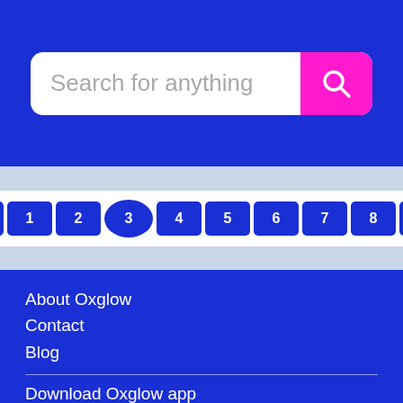[Figure (screenshot): Search bar with placeholder text 'Search for anything' and a magenta search button with magnifying glass icon]
[Figure (screenshot): Pagination control showing Prev, 1, 2, 3 (active/selected), 4, 5, 6, 7, 8, Next buttons]
About Oxglow
Contact
Blog
Download Oxglow app
[Figure (screenshot): Apple Store download button]
[Figure (screenshot): Google Play download button]